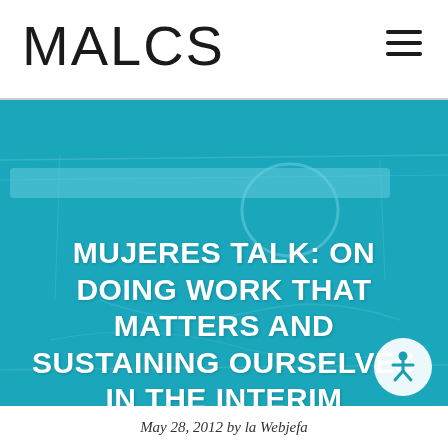MALCS
[Figure (photo): Hero image with teal/cyan overlay showing an interior workspace or classroom scene. A bright horizontal light bar is visible across the upper portion of the image.]
MUJERES TALK: ON DOING WORK THAT MATTERS AND SUSTAINING OURSELVES IN THE INTERIM
May 28, 2012 by la Webjefa